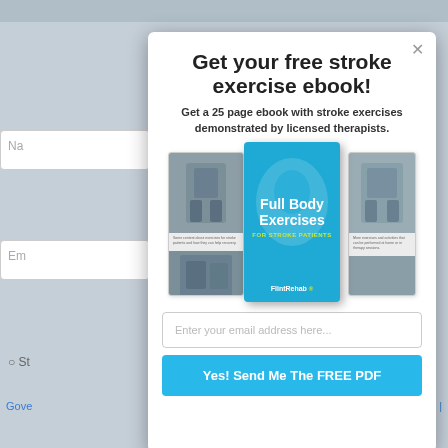Get your free stroke exercise ebook!
Get a 25 page ebook with stroke exercises demonstrated by licensed therapists.
[Figure (illustration): An ebook cover showing 'Full Body Exercises FOR STROKE PATIENTS' by FlintRehab, displayed as a center book with a blue cover and a smiling person's face, flanked by two side pages showing exercise photos.]
Enter your email address here...
Yes! Send Me The FREE PDF